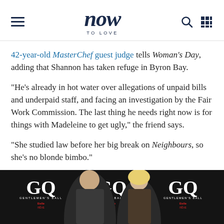now TO LOVE
42-year-old MasterChef guest judge tells Woman's Day, adding that Shannon has taken refuge in Byron Bay.
"He's already in hot water over allegations of unpaid bills and underpaid staff, and facing an investigation by the Fair Work Commission. The last thing he needs right now is for things with Madeleine to get ugly," the friend says.
"She studied law before her big break on Neighbours, so she's no blonde bimbo."
[Figure (photo): A man and woman posing at a GQ Gentlemen's Ball event against a dark branded backdrop with GQ logos visible multiple times.]